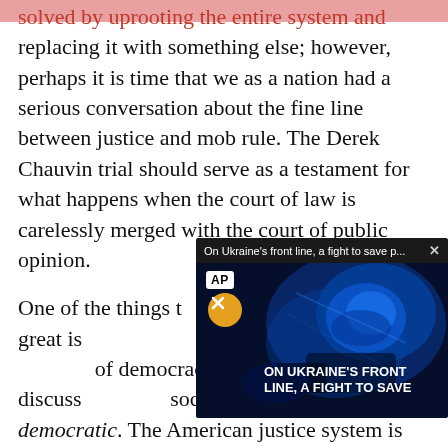solved by uprooting the entire system and replacing it with something else; however, perhaps it is time that we as a nation had a serious conversation about the fine line between justice and mob rule. The Derek Chauvin trial should serve as a testament for what happens when the court of law is carelessly merged with the court of public opinion.

One of the things t[hat makes our] republic so great is [that it avoids] so-called benevolent [tyranny. Critics] of democracy toda[y often] neglect to discuss [the ways] society are specifically anti-democratic. The American justice system is marvelous in the
[Figure (screenshot): A video overlay popup showing an AP news video titled 'On Ukraine's front line, a fight to save p...' with a dark blue medical/surgical scene illuminated by blue light, an AP logo badge, a mute button (orange circle with mute icon), and white text overlay reading 'ON UKRAINE'S FRONT LINE, A FIGHT TO SAVE']